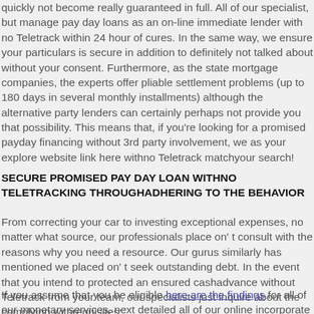quickly not become really guaranteed in full. All of our specialist, but manage pay day loans as an on-line immediate lender with no Teletrack within 24 hour of cures. In the same way, we ensure your particulars is secure in addition to definitely not talked about without your consent. Furthermore, as the state mortgage companies, the experts offer pliable settlement problems (up to 180 days in several monthly installments) although the alternative party lenders can certainly perhaps not provide you that possibility. This means that, if you're looking for a promised payday financing without 3rd party involvement, we as your explore website link here withno Teletrack matchyour search!
SECURE PROMISED PAY DAY LOAN WITHNO TELETRACKING THROUGHADHERING TO THE BEHAVIOR
From correcting your car to investing exceptional expenses, no matter what source, our professionals place on' t consult with the reasons why you need a resource. Our gurus similarly has mentioned we placed on' t seek outstanding debt. In the event that you intend to protected an ensured cashadvance without Teletrack from your team, our specialists just inquire about the complying withrequisites:
If you assume that you be eligible here are the findings for all of our monetary services, next detailed all of our online incorporate that